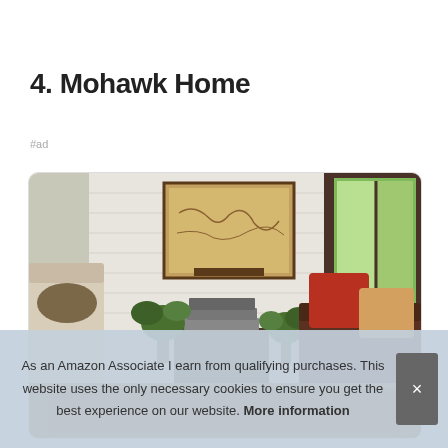4. Mohawk Home
#ad
[Figure (photo): Indoor room scene with white brick walls, a leather armchair with orange/red patterned and cream pillows, plants, stacked books, a framed vintage map on the wall, and a wood-framed window with green trees visible outside.]
As an Amazon Associate I earn from qualifying purchases. This website uses the only necessary cookies to ensure you get the best experience on our website. More information